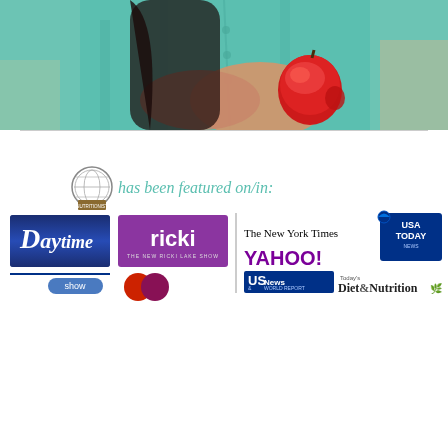[Figure (photo): Woman in teal/turquoise shirt holding a red apple, shown from torso down with long dark hair visible]
[Figure (infographic): Composite image showing a badge logo with text 'has been featured on/in:' followed by media logos: Daytime, ricki (The New Ricki Lake Show), The New York Times, USA Today, Yahoo!, U.S. News & World Report, Today's Diet & Nutrition, and partial logos of other shows]